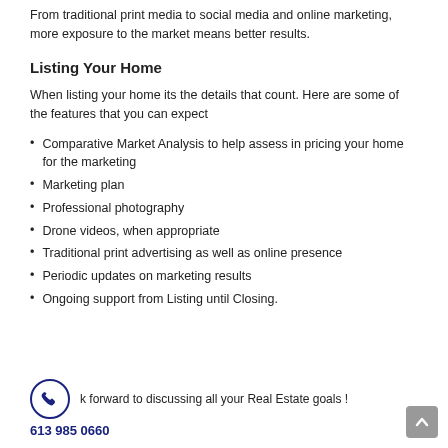From traditional print media to social media and online marketing, more exposure to the market means better results.
Listing Your Home
When listing your home its the details that count. Here are some of the features that you can expect
Comparative Market Analysis to help assess in pricing your home for the marketing
Marketing plan
Professional photography
Drone videos, when appropriate
Traditional print advertising as well as online presence
Periodic updates on marketing results
Ongoing support from Listing until Closing.
k forward to discussing all your Real Estate goals !
613 985 0660